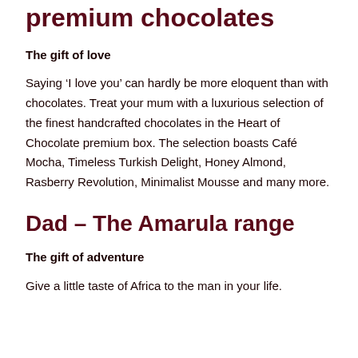premium chocolates
The gift of love
Saying ‘I love you’ can hardly be more eloquent than with chocolates. Treat your mum with a luxurious selection of the finest handcrafted chocolates in the Heart of Chocolate premium box. The selection boasts Café Mocha, Timeless Turkish Delight, Honey Almond, Rasberry Revolution, Minimalist Mousse and many more.
Dad – The Amarula range
The gift of adventure
Give a little taste of Africa to the man in your life.